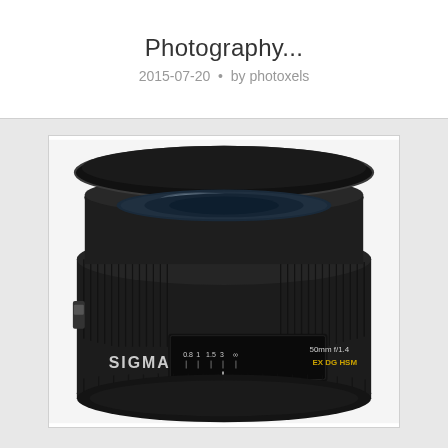Photography...
2015-07-20 • by photoxels
[Figure (photo): A Sigma 50mm f/1.4 EX DG HSM camera lens photographed from the front-top angle, showing the focus ring, lens barrel with SIGMA branding, focus distance markings, and the front lens element reflecting light.]